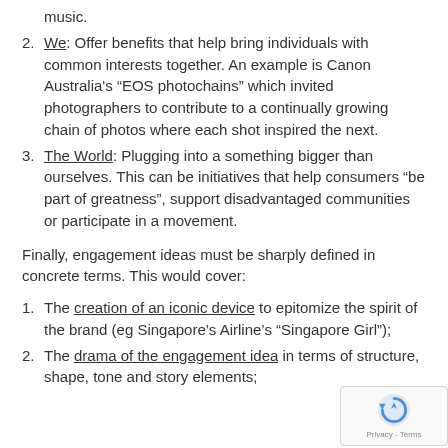music.
We: Offer benefits that help bring individuals with common interests together. An example is Canon Australia's “EOS photochains” which invited photographers to contribute to a continually growing chain of photos where each shot inspired the next.
The World: Plugging into a something bigger than ourselves. This can be initiatives that help consumers “be part of greatness”, support disadvantaged communities or participate in a movement.
Finally, engagement ideas must be sharply defined in concrete terms. This would cover:
The creation of an iconic device to epitomize the spirit of the brand (eg Singapore’s Airline’s “Singapore Girl”);
The drama of the engagement idea in terms of structure, shape, tone and story elements;